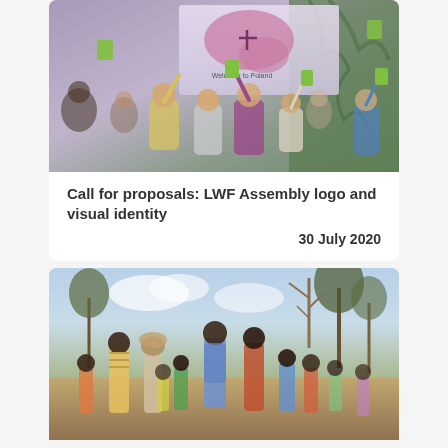[Figure (photo): Conference room scene with attendees raising green cards, a projection screen showing 'Welcome to Poland' with a pink map, decorative mural on the right wall]
Call for proposals: LWF Assembly logo and visual identity
30 July 2020
[Figure (photo): Group of people including children and adults gathered outdoors in an African setting with trees in the background]